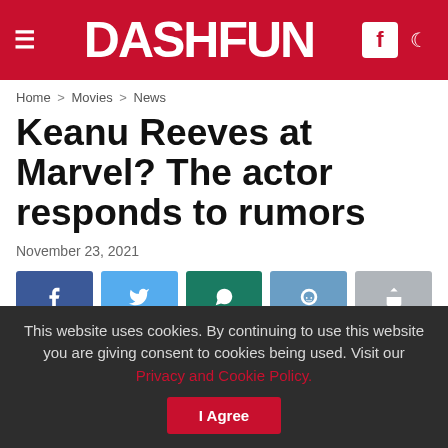DASHFUN
Home > Movies > News
Keanu Reeves at Marvel? The actor responds to rumors
November 23, 2021
[Figure (other): Social sharing buttons: Facebook, Twitter, WhatsApp, Reddit, Share]
This website uses cookies. By continuing to use this website you are giving consent to cookies being used. Visit our Privacy and Cookie Policy.